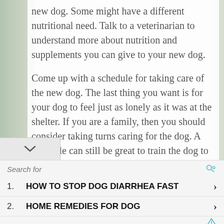new dog. Some might have a different nutritional need. Talk to a veterinarian to understand more about nutrition and supplements you can give to your new dog.
Come up with a schedule for taking care of the new dog. The last thing you want is for your dog to feel just as lonely as it was at the shelter. If you are a family, then you should consider taking turns caring for the dog. A schedule can still be great to train the dog to know when to expect food and playtime.
[Figure (screenshot): Advertisement section with search bar header and two sponsored search results: 1. HOW TO STOP DOG DIARRHEA FAST, 2. HOME REMEDIES FOR DOG]